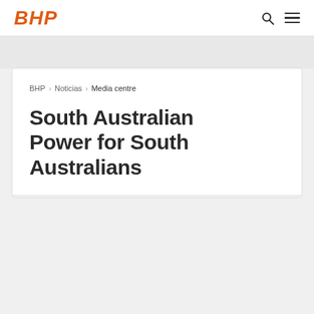BHP
BHP > Noticias > Media centre
South Australian Power for South Australians